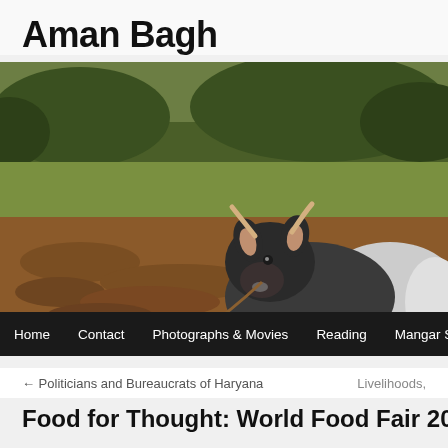Aman Bagh
[Figure (photo): A dark-colored cow resting on brown tilled soil in a green field, photographed at Aman Bagh farm.]
Home  Contact  Photographs & Movies  Reading  Mangar Sch
← Politicians and Bureaucrats of Haryana   Livelihoods,
Food for Thought: World Food Fair 2017